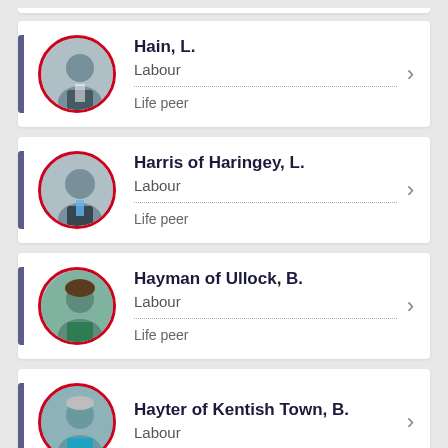Hain, L. | Labour | Life peer
Harris of Haringey, L. | Labour | Life peer
Hayman of Ullock, B. | Labour | Life peer
Hayter of Kentish Town, B. | Labour